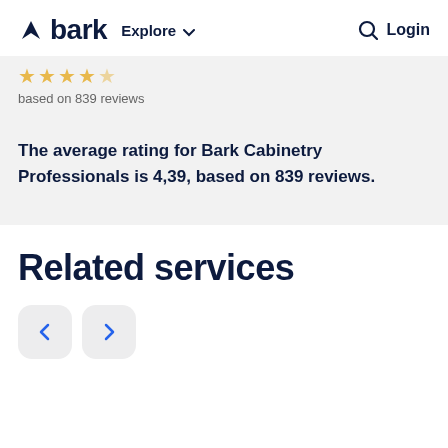bark  Explore  Login
based on 839 reviews
The average rating for Bark Cabinetry Professionals is 4,39, based on 839 reviews.
Related services